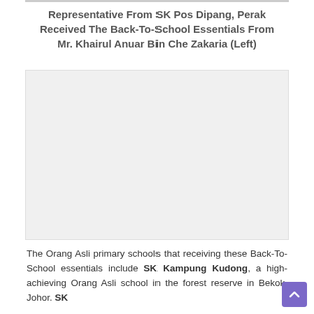Representative From SK Pos Dipang, Perak Received The Back-To-School Essentials From Mr. Khairul Anuar Bin Che Zakaria (Left)
[Figure (photo): Photo area showing representative from SK Pos Dipang, Perak receiving Back-To-School essentials from Mr. Khairul Anuar Bin Che Zakaria (Left)]
The Orang Asli primary schools that receiving these Back-To-School essentials include SK Kampung Kudong, a high-achieving Orang Asli school in the forest reserve in Bekok, Johor. SK